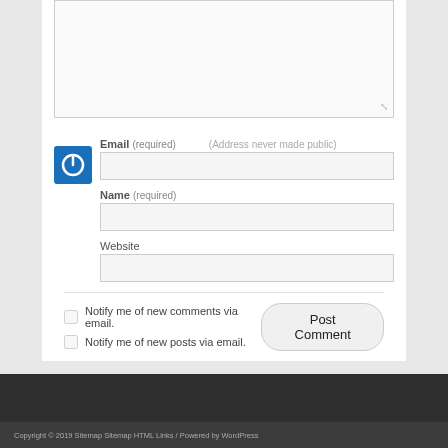[Figure (screenshot): Comment form textarea (top, partial, resizable)]
Email (required)   (Address never made public)
[Figure (screenshot): Email input field]
Name (required)
[Figure (screenshot): Name input field]
Website
[Figure (screenshot): Website input field]
Notify me of new comments via email.
Notify me of new posts via email.
Post Comment
Copyright © 2019 Sitemap Sitemap HTML Links / Powered by WordPress